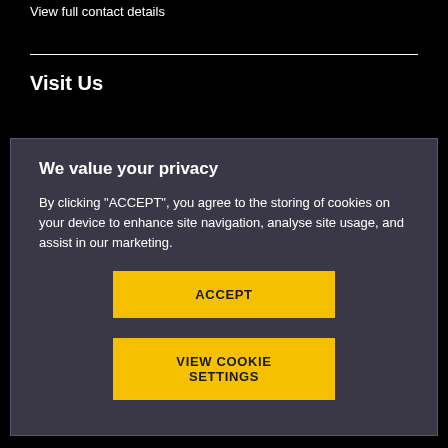View full contact details
Visit Us
We value your privacy
By clicking "ACCEPT", you agree to the storing of cookies on your device to enhance site navigation, analyse site usage, and assist in our marketing.
ACCEPT
VIEW COOKIE SETTINGS